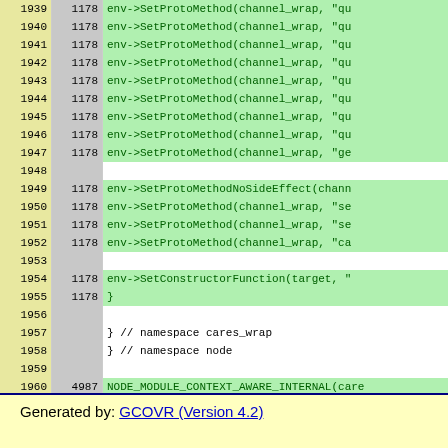| Line | Count | Code |
| --- | --- | --- |
| 1939 | 1178 | env->SetProtoMethod(channel_wrap, "qu |
| 1940 | 1178 | env->SetProtoMethod(channel_wrap, "qu |
| 1941 | 1178 | env->SetProtoMethod(channel_wrap, "qu |
| 1942 | 1178 | env->SetProtoMethod(channel_wrap, "qu |
| 1943 | 1178 | env->SetProtoMethod(channel_wrap, "qu |
| 1944 | 1178 | env->SetProtoMethod(channel_wrap, "qu |
| 1945 | 1178 | env->SetProtoMethod(channel_wrap, "qu |
| 1946 | 1178 | env->SetProtoMethod(channel_wrap, "qu |
| 1947 | 1178 | env->SetProtoMethod(channel_wrap, "ge |
| 1948 |  |  |
| 1949 | 1178 | env->SetProtoMethodNoSideEffect(chann |
| 1950 | 1178 | env->SetProtoMethod(channel_wrap, "se |
| 1951 | 1178 | env->SetProtoMethod(channel_wrap, "se |
| 1952 | 1178 | env->SetProtoMethod(channel_wrap, "ca |
| 1953 |  |  |
| 1954 | 1178 | env->SetConstructorFunction(target, " |
| 1955 | 1178 | } |
| 1956 |  |  |
| 1957 |  | }  // namespace cares_wrap |
| 1958 |  | }  // namespace node |
| 1959 |  |  |
| 1960 | 4987 | NODE_MODULE_CONTEXT_AWARE_INTERNAL(care |
Generated by: GCOVR (Version 4.2)